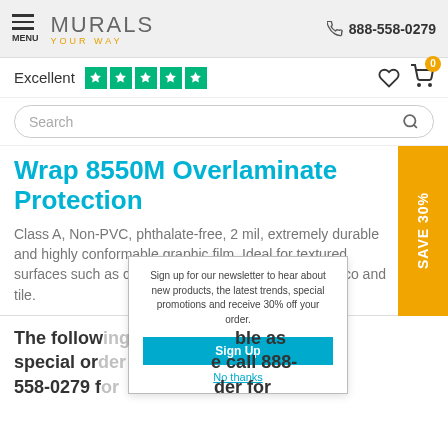MENU  MURALS YOUR WAY  888-558-0279
Excellent ★★★★★
Search
Wrap 8550M Overlaminate Protection
Class A, Non-PVC, phthalate-free, 2 mil, extremely durable and highly conformable graphic film. Ideal for textured surfaces such as concrete block, brick, industrial stucco and tile.
SAVE 30%
The following [obscured] ble as special or[obscured] e call 888-558-0279 f[obscured] der for
Sign up for our newsletter to hear about new products, the latest trends, special promotions and receive 30% off your order.
Sign Up
No thanks